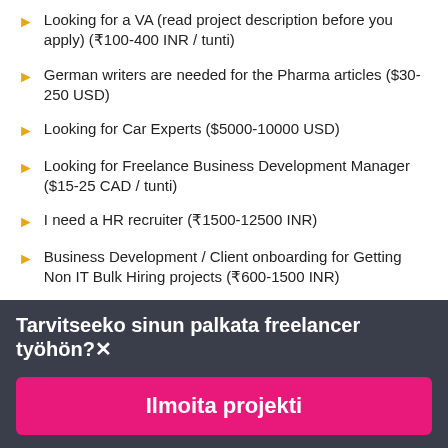Looking for a VA (read project description before you apply) (₹100-400 INR / tunti)
German writers are needed for the Pharma articles ($30-250 USD)
Looking for Car Experts ($5000-10000 USD)
Looking for Freelance Business Development Manager ($15-25 CAD / tunti)
I need a HR recruiter (₹1500-12500 INR)
Business Development / Client onboarding for Getting Non IT Bulk Hiring projects (₹600-1500 INR)
Enrollment Recruiter ($3000-5000 USD)
Tarvitseeko sinun palkata freelancer työhön?
Ilmoita projekti